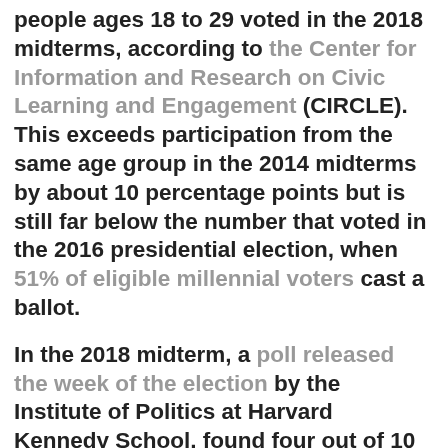people ages 18 to 29 voted in the 2018 midterms, according to the Center for Information and Research on Civic Learning and Engagement (CIRCLE). This exceeds participation from the same age group in the 2014 midterms by about 10 percentage points but is still far below the number that voted in the 2016 presidential election, when 51% of eligible millennial voters cast a ballot.
In the 2018 midterm, a poll released the week of the election by the Institute of Politics at Harvard Kennedy School, found four out of 10 adults under 30 said they would “definitely vote” and in Texas and Georgia, early turnout by 18-29 year olds was up by a whopping 500 percent in